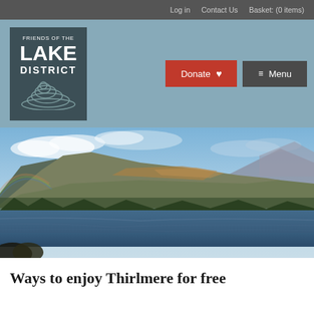Log in  Contact Us  Basket: (0 items)
[Figure (logo): Friends of the Lake District logo — dark teal square with white text and stylized contour lines graphic]
[Figure (other): Donate button (red) and Menu button (dark grey) in the header navigation area]
[Figure (photo): Panoramic photo of Thirlmere lake with mountains reflected in still water, trees, and sky with clouds]
Ways to enjoy Thirlmere for free